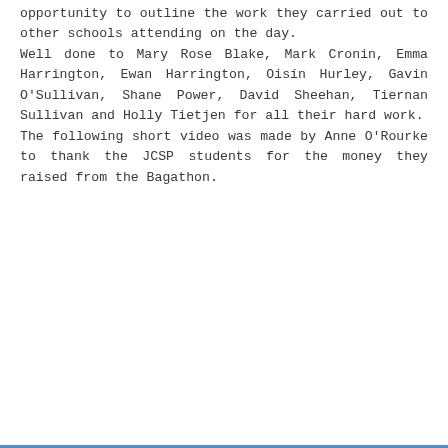opportunity to outline the work they carried out to other schools attending on the day. Well done to Mary Rose Blake, Mark Cronin, Emma Harrington, Ewan Harrington, Oisín Hurley, Gavin O'Sullivan, Shane Power, David Sheehan, Tiernan Sullivan and Holly Tietjen for all their hard work. The following short video was made by Anne O'Rourke to thank the JCSP students for the money they raised from the Bagathon.